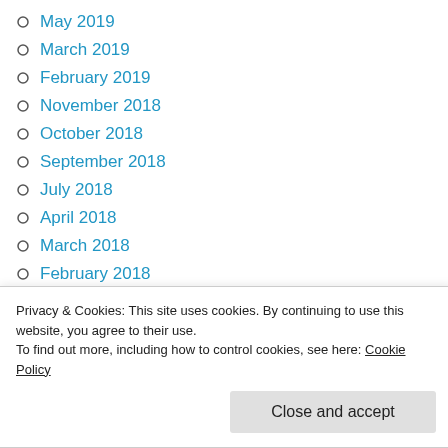May 2019
March 2019
February 2019
November 2018
October 2018
September 2018
July 2018
April 2018
March 2018
February 2018
January 2018
November 2017
Privacy & Cookies: This site uses cookies. By continuing to use this website, you agree to their use.
To find out more, including how to control cookies, see here: Cookie Policy